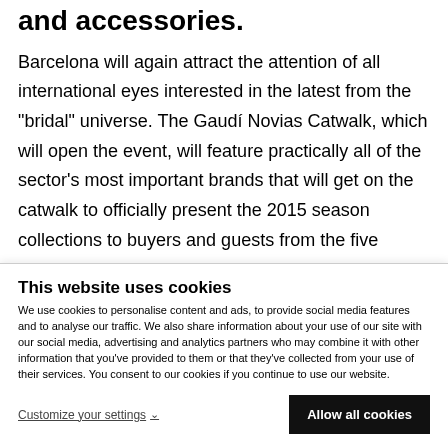and accessories.
Barcelona will again attract the attention of all international eyes interested in the latest from the "bridal" universe. The Gaudí Novias Catwalk, which will open the event, will feature practically all of the sector's most important brands that will get on the catwalk to officially present the 2015 season collections to buyers and guests from the five
This website uses cookies
We use cookies to personalise content and ads, to provide social media features and to analyse our traffic. We also share information about your use of our site with our social media, advertising and analytics partners who may combine it with other information that you've provided to them or that they've collected from your use of their services. You consent to our cookies if you continue to use our website.
Customize your settings
Allow all cookies